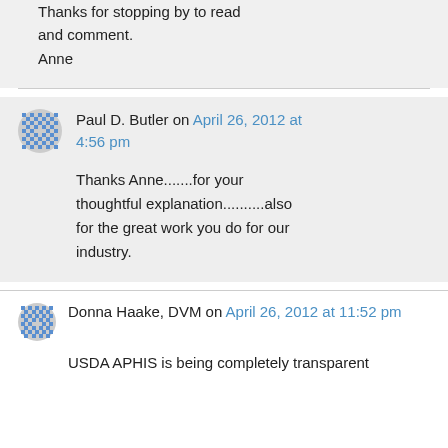Thanks for stopping by to read and comment.
Anne
Paul D. Butler on April 26, 2012 at 4:56 pm
Thanks Anne.......for your thoughtful explanation..........also for the great work you do for our industry.
Donna Haake, DVM on April 26, 2012 at 11:52 pm
USDA APHIS is being completely transparent